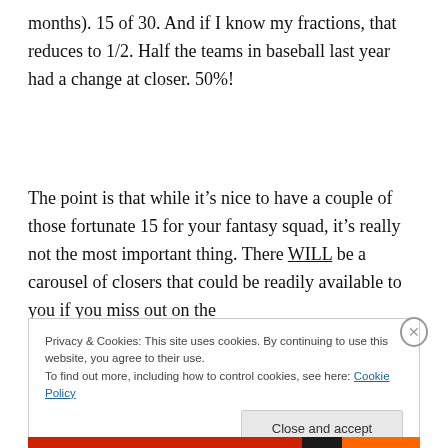months). 15 of 30. And if I know my fractions, that reduces to 1/2. Half the teams in baseball last year had a change at closer. 50%!
The point is that while it's nice to have a couple of those fortunate 15 for your fantasy squad, it's really not the most important thing. There WILL be a carousel of closers that could be readily available to you if you miss out on the
Privacy & Cookies: This site uses cookies. By continuing to use this website, you agree to their use.
To find out more, including how to control cookies, see here: Cookie Policy